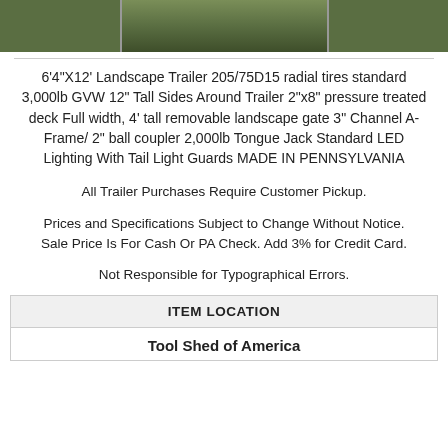[Figure (photo): Aerial or elevated photo of a landscape trailer on grass, partially visible at top of page]
6'4"X12' Landscape Trailer 205/75D15 radial tires standard 3,000lb GVW 12" Tall Sides Around Trailer 2"x8" pressure treated deck Full width, 4' tall removable landscape gate 3" Channel A-Frame/ 2" ball coupler 2,000lb Tongue Jack Standard LED Lighting With Tail Light Guards MADE IN PENNSYLVANIA
All Trailer Purchases Require Customer Pickup.
Prices and Specifications Subject to Change Without Notice.
Sale Price Is For Cash Or PA Check. Add 3% for Credit Card.
Not Responsible for Typographical Errors.
ITEM LOCATION
Tool Shed of America